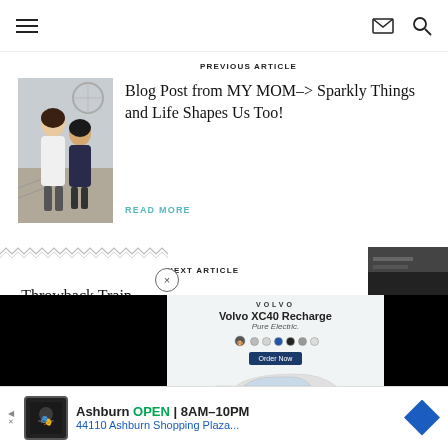Navigation header with hamburger menu, email icon, and search icon
PREVIOUS ARTICLE
[Figure (photo): Two women posing together on stairs near a round window]
Blog Post from MY MOM–> Sparkly Things and Life Shapes Us Too!
READ MORE
NEXT ARTICLE
[Figure (photo): Partial image of a room or retail space]
Throwback Train... (SIS...
[Figure (infographic): Volvo XC40 Recharge Pure Electric advertisement with color swatches and car image]
Ashburn OPEN 8AM–10PM 44110 Ashburn Shopping Plaza...